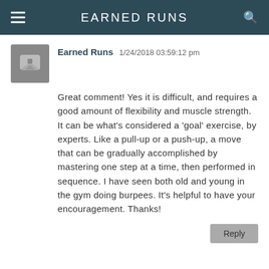EARNED RUNS
Earned Runs  1/24/2018 03:59:12 pm
Great comment! Yes it is difficult, and requires a good amount of flexibility and muscle strength. It can be what's considered a 'goal' exercise, by experts. Like a pull-up or a push-up, a move that can be gradually accomplished by mastering one step at a time, then performed in sequence. I have seen both old and young in the gym doing burpees. It's helpful to have your encouragement. Thanks!